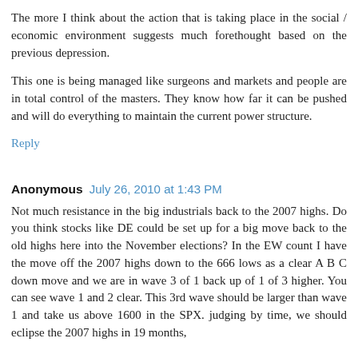The more I think about the action that is taking place in the social / economic environment suggests much forethought based on the previous depression.
This one is being managed like surgeons and markets and people are in total control of the masters. They know how far it can be pushed and will do everything to maintain the current power structure.
Reply
Anonymous   July 26, 2010 at 1:43 PM
Not much resistance in the big industrials back to the 2007 highs. Do you think stocks like DE could be set up for a big move back to the old highs here into the November elections? In the EW count I have the move off the 2007 highs down to the 666 lows as a clear A B C down move and we are in wave 3 of 1 back up of 1 of 3 higher. You can see wave 1 and 2 clear. This 3rd wave should be larger than wave 1 and take us above 1600 in the SPX. judging by time, we should eclipse the 2007 highs in 19 months,